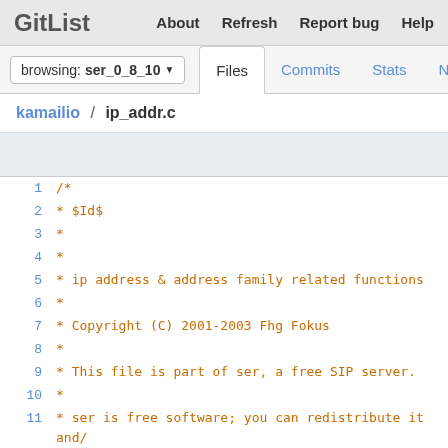GitList  About  Refresh  Report bug  Help
browsing: ser_0_8_10
Files  Commits  Stats  Network
kamailio / ip_addr.c
[Figure (screenshot): Code viewer toolbar area]
1   /*
2    * $Id$
3    *
4    *
5    * ip address & address family related functions
6    *
7    * Copyright (C) 2001-2003 Fhg Fokus
8    *
9    * This file is part of ser, a free SIP server.
10   *
11   * ser is free software; you can redistribute it and/
12   * it under the terms of the GNU General Public Licen
13   * the Free Software Foundation; either version 2 of
14   * (at your option) any later version
15   *